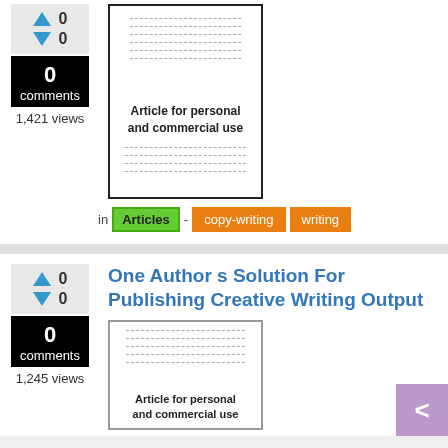[Figure (screenshot): Article thumbnail showing dashed lines and label 'Article for personal and commercial use']
1,421 views
in Articles - copy-writing writing
One Author s Solution For Publishing Creative Writing Output
[Figure (screenshot): Article thumbnail showing dashed lines and label 'Article for personal and commercial use']
1,245 views